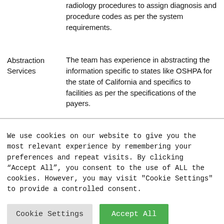radiology procedures to assign diagnosis and procedure codes as per the system requirements.
Abstraction Services
The team has experience in abstracting the information specific to states like OSHPA for the state of California and specifics to facilities as per the specifications of the payers.
We use cookies on our website to give you the most relevant experience by remembering your preferences and repeat visits. By clicking "Accept All", you consent to the use of ALL the cookies. However, you may visit "Cookie Settings" to provide a controlled consent.